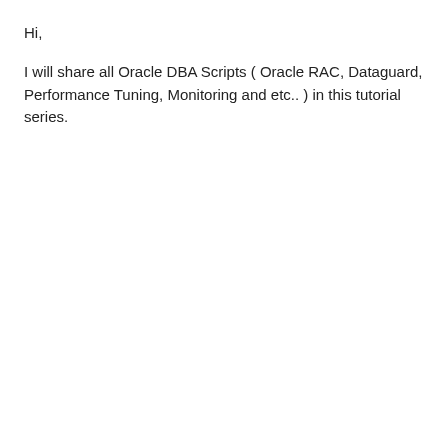Hi,
I will share all Oracle DBA Scripts ( Oracle RAC, Dataguard, Performance Tuning, Monitoring and etc.. ) in this tutorial series.